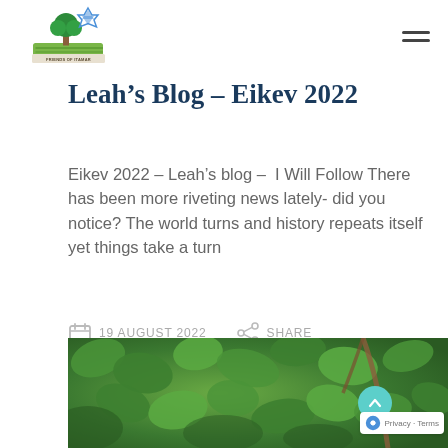Friends of Itamar logo and navigation
Leah’s Blog – Eikev 2022
Eikev 2022 – Leah’s blog –  I Will Follow There has been more riveting news lately- did you notice? The world turns and history repeats itself yet things take a turn
19 AUGUST 2022   SHARE
[Figure (photo): Close-up photo of dense green fig leaves with branches, cropped at the bottom of the page]